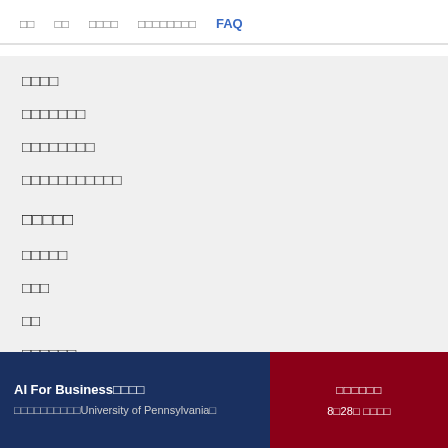□□  □□  □□□□  □□□□□□□□  FAQ
□□□□
□□□□□□□
□□□□□□□□
□□□□□□□□□□□
□□□□□
□□□□□
□□□
□□
□□□□□□
AI For Business□□□□ □□□□□□□□□□University of Pennsylvania□
□□□□□□ 8□28□ □□□□